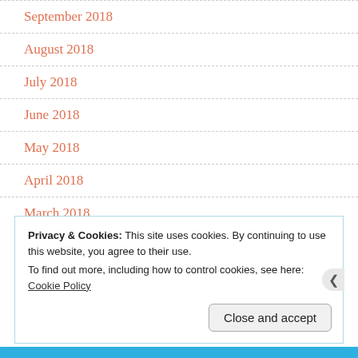September 2018
August 2018
July 2018
June 2018
May 2018
April 2018
March 2018
Privacy & Cookies: This site uses cookies. By continuing to use this website, you agree to their use.
To find out more, including how to control cookies, see here: Cookie Policy
Close and accept